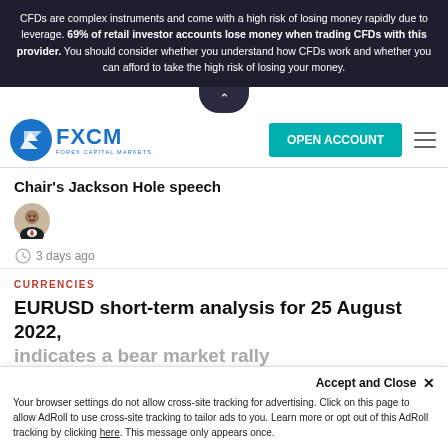CFDs are complex instruments and come with a high risk of losing money rapidly due to leverage. 69% of retail investor accounts lose money when trading CFDs with this provider. You should consider whether you understand how CFDs work and whether you can afford to take the high risk of losing your money.
[Figure (logo): FXCM Forex Capital Markets logo with teal Open Account button and hamburger menu]
Chair's Jackson Hole speech
[Figure (photo): Circular author avatar photo of a man in a suit]
3 days ago
CURRENCIES
EURUSD short-term analysis for 25 August 2022, indicates a bear market rally
Your browser settings do not allow cross-site tracking for advertising. Click on this page to allow AdRoll to use cross-site tracking to tailor ads to you. Learn more or opt out of this AdRoll tracking by clicking here. This message only appears once.